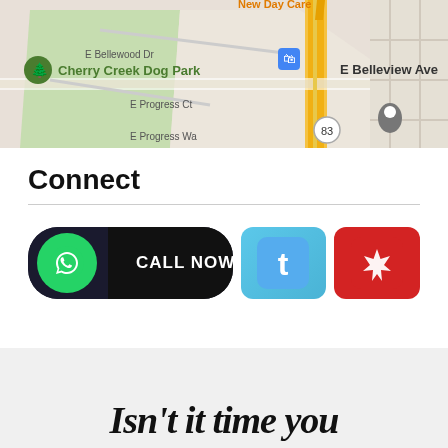[Figure (map): Google Maps view showing Cherry Creek Dog Park area, E Bellewood Dr, E Progress Ct, E Progress Way, E Belleview Ave, Shalom Park, road 83, New Day Care marker, and various location pins.]
Connect
[Figure (infographic): Social media contact buttons: WhatsApp/Call Now button (green circle with phone icon on dark background), Twitter button (blue with 't' logo), Yelp button (red with Yelp 'y' logo).]
Isn't it time you